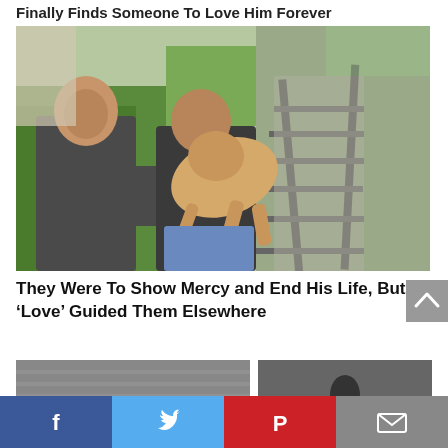Finally Finds Someone To Love Him Forever
[Figure (photo): Two men near railroad tracks, one carrying a dog in his arms]
They Were To Show Mercy and End His Life, But ‘Love’ Guided Them Elsewhere
[Figure (photo): Two smaller photos at bottom, partially visible]
[Figure (infographic): Social media share bar with Facebook, Twitter, Pinterest, and email icons]